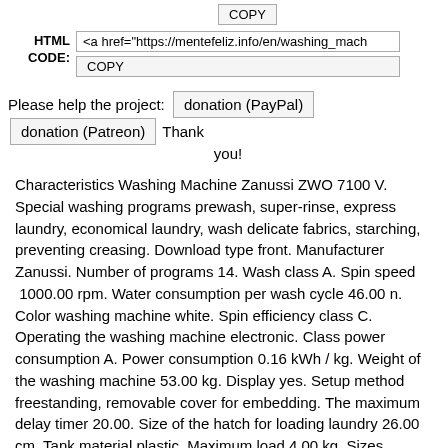COPY
HTML CODE: <a href="https://mentefeliz.info/en/washing_mach
COPY
Please help the project: donation (PayPal) donation (Patreon) Thank you!
Characteristics Washing Machine Zanussi ZWO 7100 V. Special washing programs prewash, super-rinse, express laundry, economical laundry, wash delicate fabrics, starching, preventing creasing. Download type front. Manufacturer Zanussi. Number of programs 14. Wash class A. Spin speed 1000.00 rpm. Water consumption per wash cycle 46.00 n. Color washing machine white. Spin efficiency class C. Operating the washing machine electronic. Class power consumption A. Power consumption 0.16 kWh / kg. Weight of the washing machine 53.00 kg. Display yes. Setup method freestanding, removable cover for embedding. The maximum delay timer 20.00. Size of the hatch for loading laundry 26.00 cm. Tank material plastic. Maximum load 4.00 kg. Sizes 60.00x38.00x85.00 cm.
additionally: choice of washing temperature; control imbalance; control the level of foam; it signals the end of the program; protection from water leaks; undo spin; ability to select the spin speed; protection of children; bio enzyme phase; hatch opens to 180